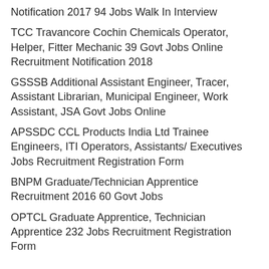Notification 2017 94 Jobs Walk In Interview
TCC Travancore Cochin Chemicals Operator, Helper, Fitter Mechanic 39 Govt Jobs Online Recruitment Notification 2018
GSSSB Additional Assistant Engineer, Tracer, Assistant Librarian, Municipal Engineer, Work Assistant, JSA Govt Jobs Online
APSSDC CCL Products India Ltd Trainee Engineers, ITI Operators, Assistants/ Executives Jobs Recruitment Registration Form
BNPM Graduate/Technician Apprentice Recruitment 2016 60 Govt Jobs
OPTCL Graduate Apprentice, Technician Apprentice 232 Jobs Recruitment Registration Form
Staff Nurse Vacancy